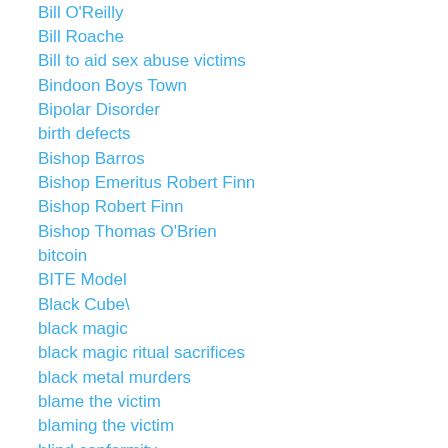Bill O'Reilly
Bill Roache
Bill to aid sex abuse victims
Bindoon Boys Town
Bipolar Disorder
birth defects
Bishop Barros
Bishop Emeritus Robert Finn
Bishop Robert Finn
Bishop Thomas O'Brien
bitcoin
BITE Model
Black Cube\
black magic
black magic ritual sacrifices
black metal murders
blame the victim
blaming the victim
blind conformity
BLIND TO BETRAYAL